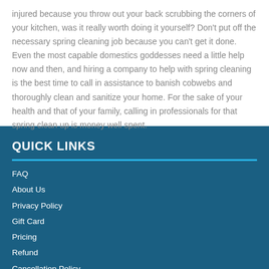injured because you throw out your back scrubbing the corners of your kitchen, was it really worth doing it yourself? Don't put off the necessary spring cleaning job because you can't get it done. Even the most capable domestics goddesses need a little help now and then, and hiring a company to help with spring cleaning is the best time to call in assistance to banish cobwebs and thoroughly clean and sanitize your home. For the sake of your health and that of your family, calling in professionals for that spring clean up is money well spent.
QUICK LINKS
FAQ
About Us
Privacy Policy
Gift Card
Pricing
Refund
Cancellation Policy